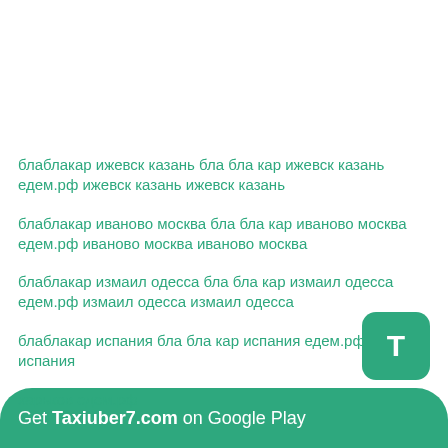блаблакар ижевск казань бла бла кар ижевск казань едем.рф ижевск казань ижевск казань
блаблакар иваново москва бла бла кар иваново москва едем.рф иваново москва иваново москва
блаблакар измаил одесса бла бла кар измаил одесса едем.рф измаил одесса измаил одесса
блаблакар испания бла бла кар испания едем.рф испания испания
блаблакар инструкция бла бла кар инструкция едем.рф инструкция инструкция
... харьков едем.рф изюм харьков изюм харьков